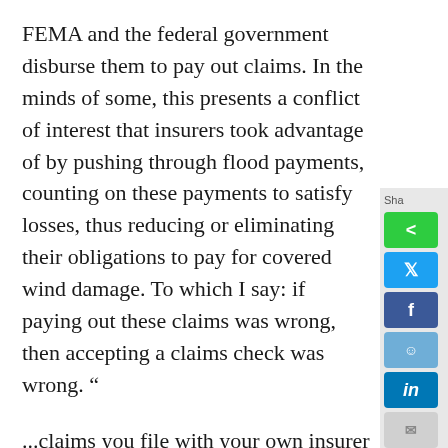FEMA and the federal government disburse them to pay out claims. In the minds of some, this presents a conflict of interest that insurers took advantage of by pushing through flood payments, counting on these payments to satisfy losses, thus reducing or eliminating their obligations to pay for covered wind damage. To which I say: if paying out these claims was wrong, then accepting a claims check was wrong. “
...claims you file with your own insurer for damage to your house or other property are called first-party claims. An adversary relationship is assumed to exist between the insurer and insured from the time the claim is
[Figure (other): Social share sidebar with buttons: share (green), Twitter (blue), Facebook (dark blue), Reddit (light blue), LinkedIn (blue), Email (grey)]